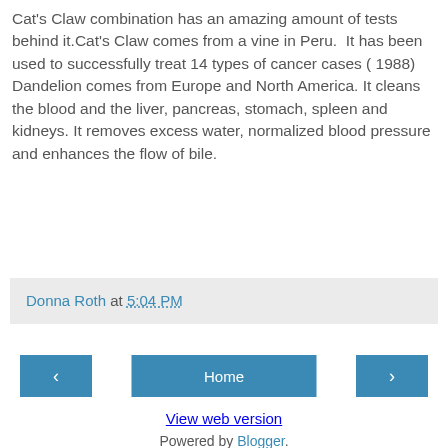Cat's Claw combination has an amazing amount of tests behind it.Cat's Claw comes from a vine in Peru. It has been used to successfully treat 14 types of cancer cases ( 1988) Dandelion comes from Europe and North America. It cleans the blood and the liver, pancreas, stomach, spleen and kidneys. It removes excess water, normalized blood pressure and enhances the flow of bile.
Donna Roth at 5:04 PM
‹
Home
›
View web version
Powered by Blogger.